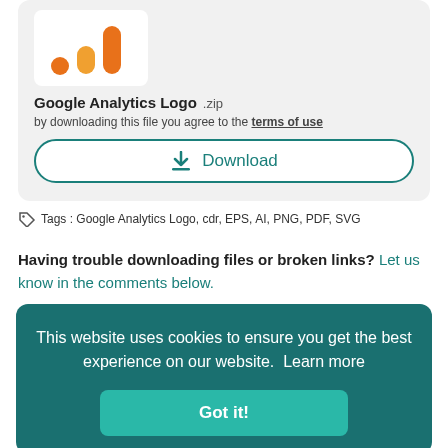[Figure (logo): Google Analytics logo — orange and yellow bar chart icon on white card background]
Google Analytics Logo .zip
by downloading this file you agree to the terms of use
Download
Tags : Google Analytics Logo, cdr, EPS, AI, PNG, PDF, SVG
Having trouble downloading files or broken links? Let us know in the comments below.
This website uses cookies to ensure you get the best experience on our website.  Learn more
Got it!